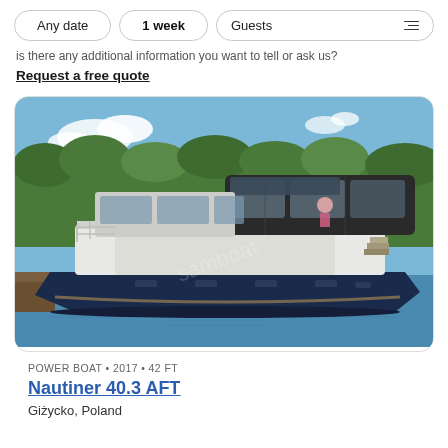Any date | 1 week | Guests
is there any additional information you want to tell or ask us?
Request a free quote
[Figure (photo): A white and dark navy motorboat/power boat on water with trees in background, docked at a pier. The boat has a glass-enclosed upper cabin area with dark canvas top.]
POWER BOAT • 2017 • 42 FT
Nautiner 40.3 AFT
Giżycko, Poland